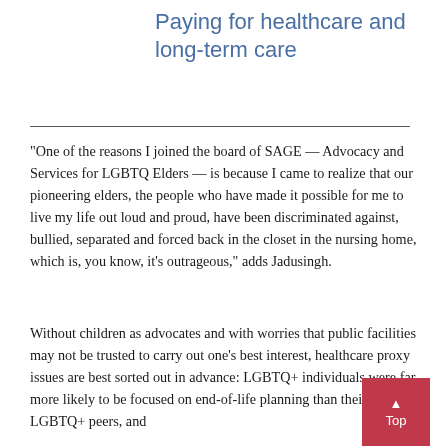Paying for healthcare and long-term care
“One of the reasons I joined the board of SAGE — Advocacy and Services for LGBTQ Elders — is because I came to realize that our pioneering elders, the people who have made it possible for me to live my life out loud and proud, have been discriminated against, bullied, separated and forced back in the closet in the nursing home, which is, you know, it’s outrageous,” adds Jadusingh.
Without children as advocates and with worries that public facilities may not be trusted to carry out one’s best interest, healthcare proxy issues are best sorted out in advance: LGBTQ+ individuals were far more likely to be focused on end-of-life planning than their non-LGBTQ+ peers, and